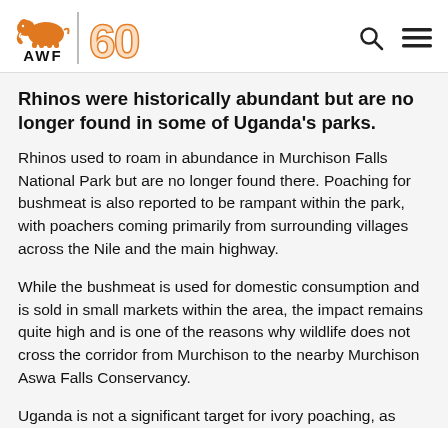AWF 60 [logo header with search and menu icons]
Rhinos were historically abundant but are no longer found in some of Uganda's parks.
Rhinos used to roam in abundance in Murchison Falls National Park but are no longer found there. Poaching for bushmeat is also reported to be rampant within the park, with poachers coming primarily from surrounding villages across the Nile and the main highway.
While the bushmeat is used for domestic consumption and is sold in small markets within the area, the impact remains quite high and is one of the reasons why wildlife does not cross the corridor from Murchison to the nearby Murchison Aswa Falls Conservancy.
Uganda is not a significant target for ivory poaching, as